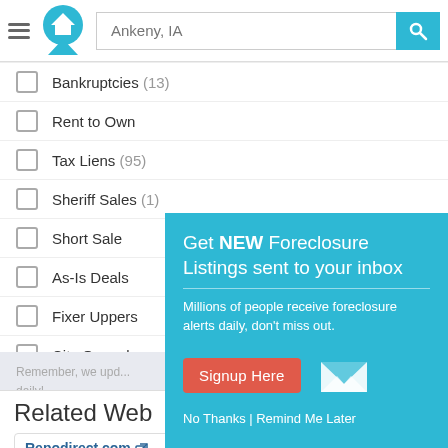[Figure (screenshot): App header with hamburger menu, home logo, search input showing 'Ankeny, IA', and blue search button]
Bankruptcies (13)
Rent to Own
Tax Liens (95)
Sheriff Sales (1)
Short Sale
As-Is Deals
Fixer Uppers
City Owned
Remember, we upda... daily!
Related Web
Repodirect.com — Online auction for boats, cars, jet skis etc.
Get NEW Foreclosure Listings sent to your inbox
Millions of people receive foreclosure alerts daily, don't miss out.
Signup Here
No Thanks | Remind Me Later